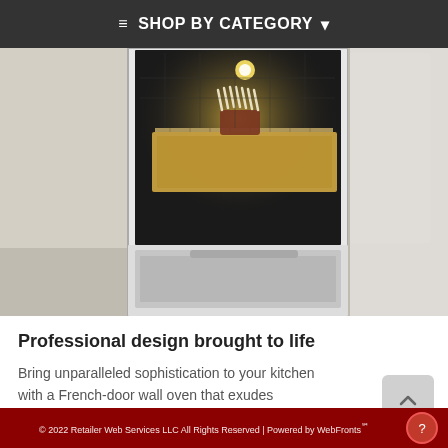≡ SHOP BY CATEGORY ▾
[Figure (photo): Open French-door wall oven with a rack of lamb on a baking tray, interior light on, showing oven cavity and lower oven door]
Professional design brought to life
Bring unparalleled sophistication to your kitchen with a French-door wall oven that exudes professional style and allows you to personalize the look with customizable handles and finishes
© 2022 Retailer Web Services LLC All Rights Reserved | Powered by WebFronts℠